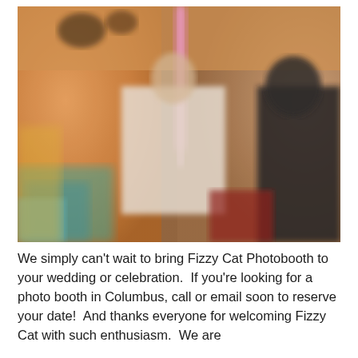[Figure (photo): A blurred indoor photo showing people in a room with orange/warm walls, colorful decorations, a white banner or sign, pink vertical streaks of light, and a person in dark clothing on the right side. Colorful items visible in the lower left.]
We simply can't wait to bring Fizzy Cat Photobooth to your wedding or celebration.  If you're looking for a photo booth in Columbus, call or email soon to reserve your date!  And thanks everyone for welcoming Fizzy Cat with such enthusiasm.  We are